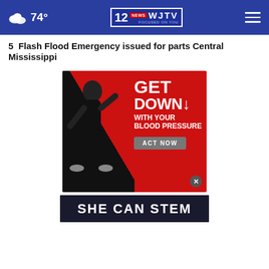74° | WJTV News 12 | Focused on You
5  Flash Flood Emergency issued for parts Central Mississippi
[Figure (photo): Advertisement: 'GET DOWN WITH YOUR BLOOD PRESSURE - ACT NOW' featuring a man in a running pose against a red background]
[Figure (photo): Advertisement banner: 'SHE CAN STEM' on dark navy background]